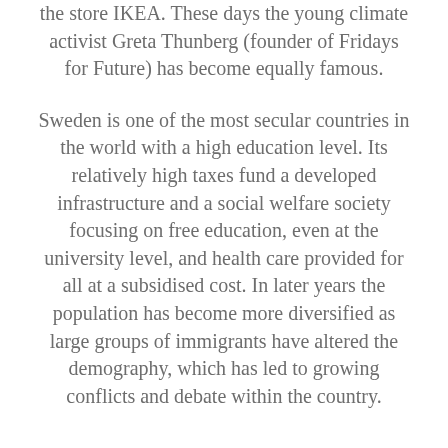the store IKEA. These days the young climate activist Greta Thunberg (founder of Fridays for Future) has become equally famous.
Sweden is one of the most secular countries in the world with a high education level. Its relatively high taxes fund a developed infrastructure and a social welfare society focusing on free education, even at the university level, and health care provided for all at a subsidised cost. In later years the population has become more diversified as large groups of immigrants have altered the demography, which has led to growing conflicts and debate within the country.